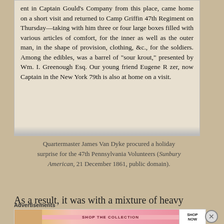[Figure (photo): Scanned newspaper clipping showing text about Quartermaster James Van Dyke and the 47th Regiment, mentioning Camp Griffin, a barrel of 'sour krout' presented by Wm. I. Greenough Esq., and Captain Eugene R zer of the New York 79th.]
Quartermaster James Van Dyke procured a holiday surprise for the 47th Pennsylvania Volunteers (Sunbury American, 21 December 1861, public domain).
As a result, it was with a mixture of heavy hearts and hope that members of the 47th Pennsylvania
Advertisements
[Figure (photo): Victoria's Secret advertisement banner: pink background with woman's photo on left, Victoria's Secret logo/text in center, 'SHOP THE COLLECTION' text, and white 'SHOP NOW' button on right.]